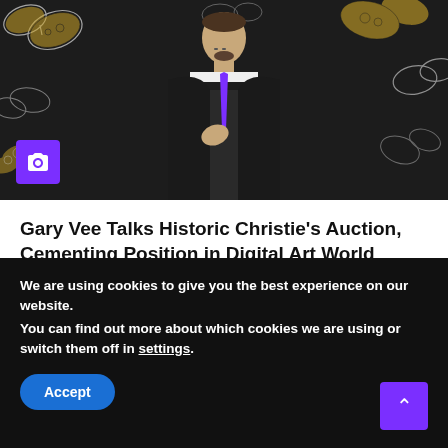[Figure (photo): Man in black suit with purple tie posing in front of a dark background decorated with white and gold butterfly illustrations. A purple camera icon box is overlaid in the lower-left corner of the photo.]
Gary Vee Talks Historic Christie's Auction, Cementing Position in Digital Art World
Sep 3, 2022
We are using cookies to give you the best experience on our website.
You can find out more about which cookies we are using or switch them off in settings.
Accept